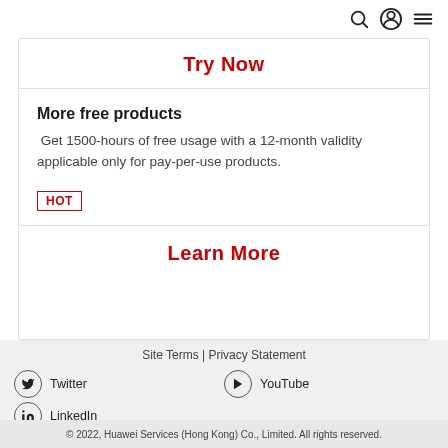Try Now
More free products
Get 1500-hours of free usage with a 12-month validity applicable only for pay-per-use products.
HOT
Learn More
Site Terms | Privacy Statement
Twitter
YouTube
LinkedIn
© 2022, Huawei Services (Hong Kong) Co., Limited. All rights reserved.